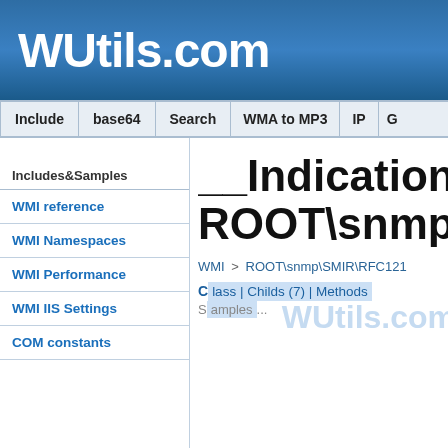WUtils.com
Include | base64 | Search | WMA to MP3 | IP | G
Includes&Samples
WMI reference
WMI Namespaces
WMI Performance
WMI IIS Settings
COM constants
__IndicationRelate ROOT\snmp\SMIR
WMI > ROOT\snmp\SMIR\RFC121
Class | Childs (7) | Methods | Samples | WUtils.com /